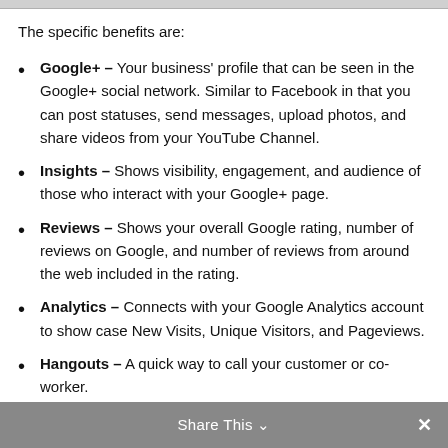The specific benefits are:
Google+ – Your business' profile that can be seen in the Google+ social network. Similar to Facebook in that you can post statuses, send messages, upload photos, and share videos from your YouTube Channel.
Insights – Shows visibility, engagement, and audience of those who interact with your Google+ page.
Reviews – Shows your overall Google rating, number of reviews on Google, and number of reviews from around the web included in the rating.
Analytics – Connects with your Google Analytics account to show case New Visits, Unique Visitors, and Pageviews.
Hangouts – A quick way to call your customer or co-worker.
Share This ✓  ×